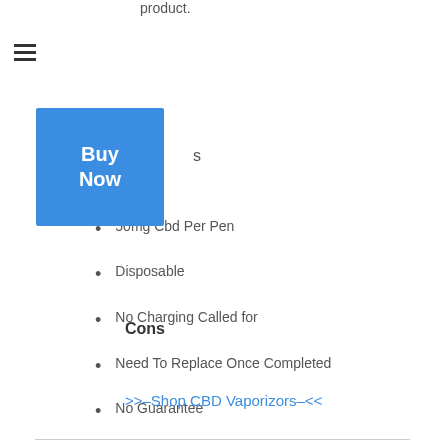product.
50mg Cbd Per Pen
Disposable
No Charging Called for
Cons
Need To Replace Once Completed
No Guarantee
>>–Shop CBD Vaporizors–<<